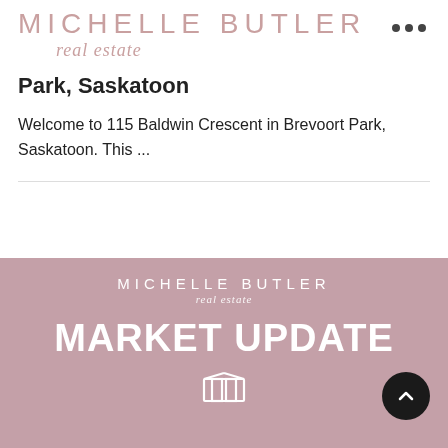MICHELLE BUTLER real estate
Park, Saskatoon
Welcome to 115 Baldwin Crescent in Brevoort Park, Saskatoon. This ...
[Figure (infographic): Michelle Butler Real Estate branded card with muted rose/mauve background showing 'MICHELLE BUTLER real estate' logo, large bold text 'MARKET UPDATE', and a small house/building icon at the bottom. A dark circular scroll-up button overlays the bottom right.]